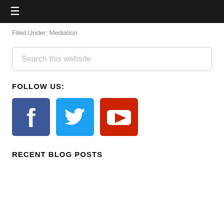≡
Filed Under: Mediation
Search this website
FOLLOW US:
[Figure (illustration): Social media icons: Facebook (blue square with white 'f'), Twitter (light blue square with white bird), YouTube (red square with white play button)]
RECENT BLOG POSTS